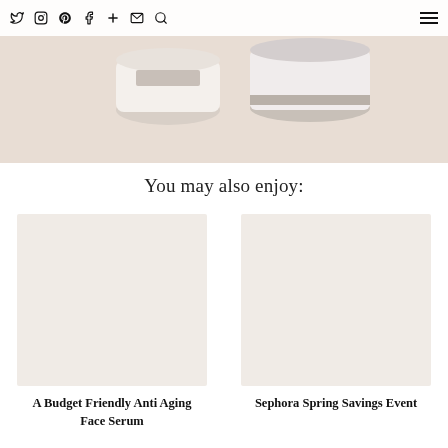Social media navigation icons and hamburger menu
[Figure (photo): Two white skincare cream jars on a light beige/peach surface, photographed from above/front angle]
You may also enjoy:
[Figure (photo): Placeholder image for A Budget Friendly Anti Aging Face Serum article]
A Budget Friendly Anti Aging Face Serum
[Figure (photo): Placeholder image for Sephora Spring Savings Event article]
Sephora Spring Savings Event